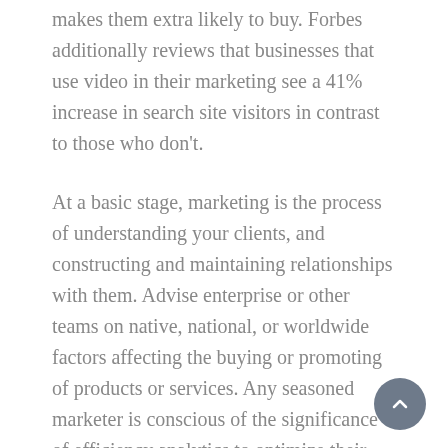makes them extra likely to buy. Forbes additionally reviews that businesses that use video in their marketing see a 41% increase in search site visitors in contrast to those who don't.
At a basic stage, marketing is the process of understanding your clients, and constructing and maintaining relationships with them. Advise enterprise or other teams on native, national, or worldwide factors affecting the buying or promoting of products or services. Any seasoned marketer is conscious of the significance of efficiency analytics to optimize their strategy.
As Nervos continues to develop as a powerful blockchain platform, we are proud to see new